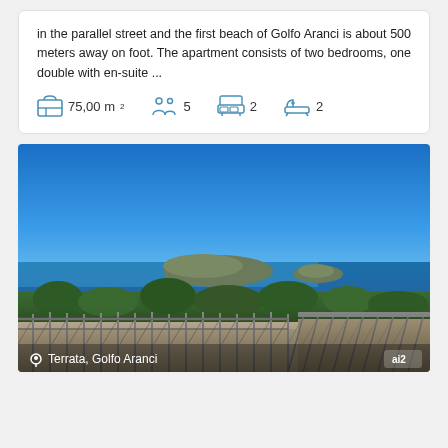in the parallel street and the first beach of Golfo Aranci is about 500 meters away on foot. The apartment consists of two bedrooms, one double with en-suite ...
75,00 m²   5   2   2
[Figure (photo): Rooftop terrace view of Golfo Aranci bay with blue water, islands in the distance, and a metal railing in the foreground. Caption: Terrata, Golfo Aranci]